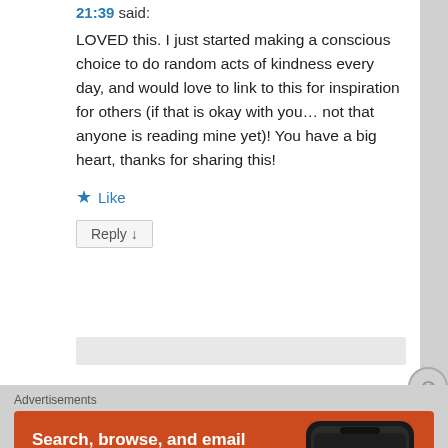21:39 said:
LOVED this. I just started making a conscious choice to do random acts of kindness every day, and would love to link to this for inspiration for others (if that is okay with you… not that anyone is reading mine yet)! You have a big heart, thanks for sharing this!
★ Like
Reply ↓
Advertisements
[Figure (screenshot): DuckDuckGo advertisement banner with orange background. Text reads 'Search, browse, and email with more privacy. All in One Free App' with a phone image and DuckDuckGo logo.]